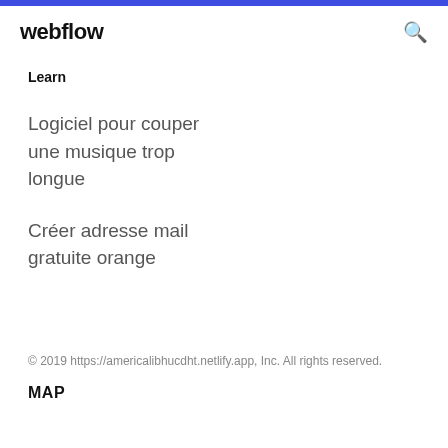webflow
Learn
Logiciel pour couper une musique trop longue
Créer adresse mail gratuite orange
© 2019 https://americalibhucdht.netlify.app, Inc. All rights reserved.
MAP